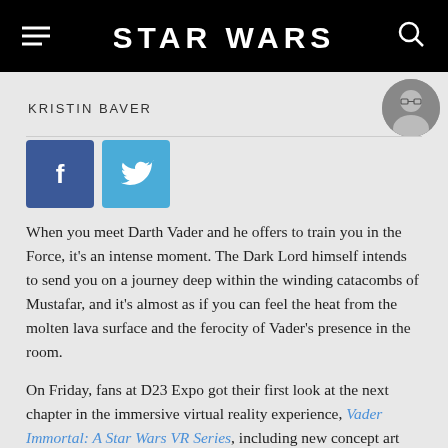STAR WARS
KRISTIN BAVER
[Figure (illustration): Author photo of Kristin Baver, a woman with glasses and brown hair]
[Figure (logo): Facebook share button - blue square with white 'f' icon]
[Figure (logo): Twitter share button - light blue square with white bird icon]
When you meet Darth Vader and he offers to train you in the Force, it's an intense moment. The Dark Lord himself intends to send you on a journey deep within the winding catacombs of Mustafar, and it's almost as if you can feel the heat from the molten lava surface and the ferocity of Vader's presence in the room.
On Friday, fans at D23 Expo got their first look at the next chapter in the immersive virtual reality experience, Vader Immortal: A Star Wars VR Series, including new concept art featuring a frightening never-before-seen creature, the Darkghast, and the Corvax Fortress, where the monstrous